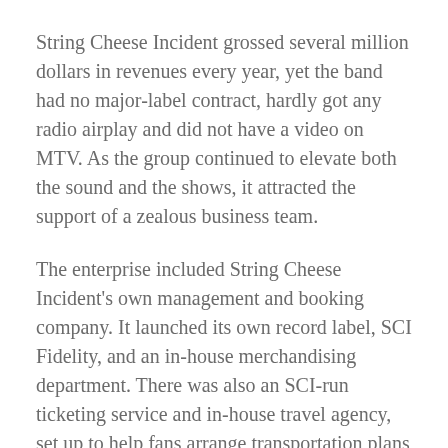String Cheese Incident grossed several million dollars in revenues every year, yet the band had no major-label contract, hardly got any radio airplay and did not have a video on MTV. As the group continued to elevate both the sound and the shows, it attracted the support of a zealous business team.
The enterprise included String Cheese Incident's own management and booking company. It launched its own record label, SCI Fidelity, and an in-house merchandising department. There was also an SCI-run ticketing service and in-house travel agency, set up to help fans arrange transportation plans to “incidents.” The band also employed a tape archivist who maintained recordings from each SCI show.